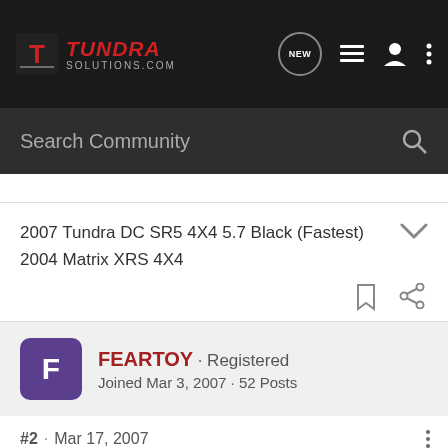TUNDRA SOLUTIONS.COM
Search Community
2007 Tundra DC SR5 4X4 5.7 Black (Fastest)
2004 Matrix XRS 4X4
FEARTOY · Registered
Joined Mar 3, 2007 · 52 Posts
#2 · Mar 17, 2007
I just installed lights yesterday.

I bought Baja designs lights and wired them to the high beem.
I am a clean freak,i dont like aftermarket tagle switchs.